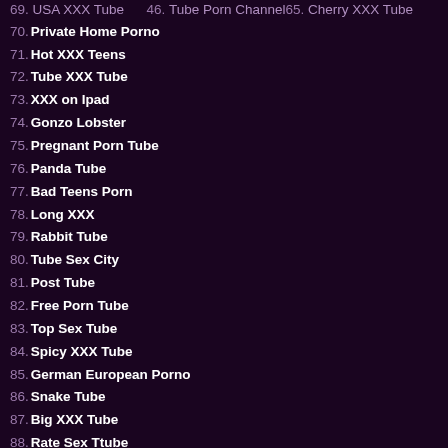69. USA XXX Tube   46. Tube Porn Channel 65. Cherry XXX Tube
70. Private Home Porno
71. Hot XXX Teens
72. Tube XXX Tube
73. XXX on Ipad
74. Gonzo Lobster
75. Pregnant Porn Tube
76. Panda Tube
77. Bad Teens Porn
78. Long XXX
79. Rabbit Tube
80. Tube Sex City
81. Post Tube
82. Free Porn Tube
83. Top Sex Tube
84. Spicy XXX Tube
85. German European Porno
86. Snake Tube
87. Big XXX Tube
88. Rate Sex Ttube
89. Tubuz
90. Busty Cats
91. Dita Tube